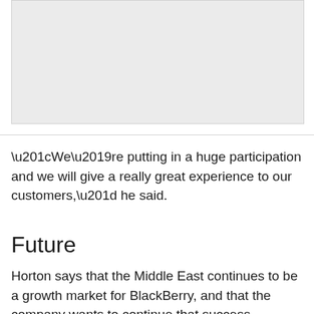[Figure (photo): Gray placeholder image area at the top of the page]
“We’re putting in a huge participation and we will give a really great experience to our customers,” he said.
Future
Horton says that the Middle East continues to be a growth market for BlackBerry, and that the company wants to continue that success.